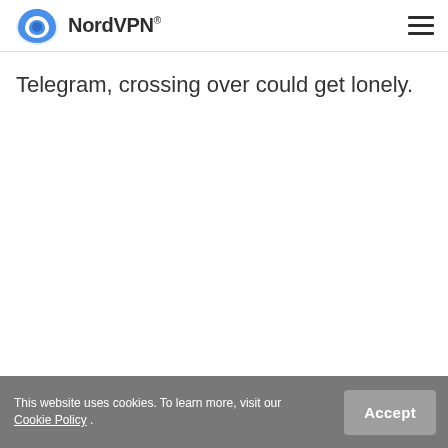NordVPN®
Telegram, crossing over could get lonely.
This website uses cookies. To learn more, visit our Cookie Policy .